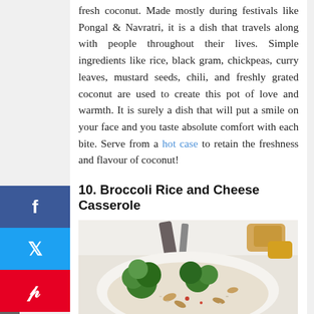fresh coconut. Made mostly during festivals like Pongal & Navratri, it is a dish that travels along with people throughout their lives. Simple ingredients like rice, black gram, chickpeas, curry leaves, mustard seeds, chili, and freshly grated coconut are used to create this pot of love and warmth. It is surely a dish that will put a smile on your face and you taste absolute comfort with each bite. Serve from a hot case to retain the freshness and flavour of coconut!
10. Broccoli Rice and Cheese Casserole
[Figure (photo): Photo of broccoli rice and cheese casserole dish with green broccoli florets, rice, nuts, and other ingredients visible, served on a white plate with serving utensil in background]